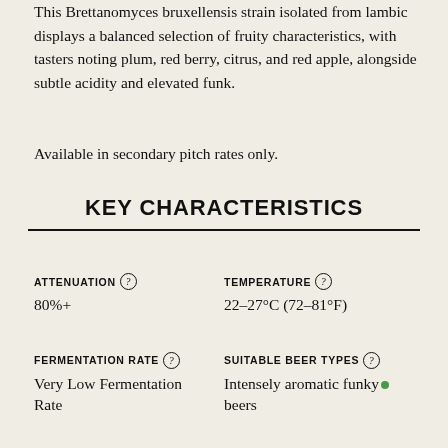This Brettanomyces bruxellensis strain isolated from lambic displays a balanced selection of fruity characteristics, with tasters noting plum, red berry, citrus, and red apple, alongside subtle acidity and elevated funk.
Available in secondary pitch rates only.
KEY CHARACTERISTICS
ATTENUATION
80%+
TEMPERATURE
22–27°C (72–81°F)
FERMENTATION RATE
Very Low Fermentation Rate
SUITABLE BEER TYPES
Intensely aromatic funky beers